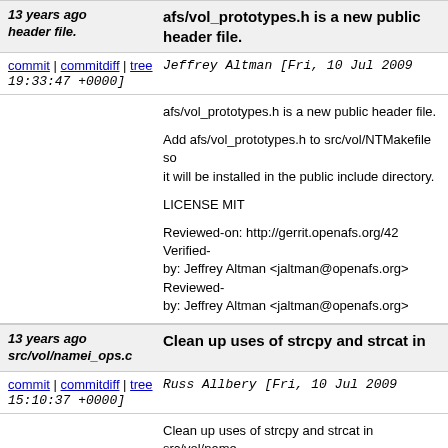13 years ago afs/vol_prototypes.h is a new public header file.
commit | commitdiff | tree  Jeffrey Altman [Fri, 10 Jul 2009 19:33:47 +0000]
afs/vol_prototypes.h is a new public header file.

Add afs/vol_prototypes.h to src/vol/NTMakefile so it will be installed in the public include directory.

LICENSE MIT

Reviewed-on: http://gerrit.openafs.org/42
Verified-
by: Jeffrey Altman <jaltman@openafs.org>
Reviewed-
by: Jeffrey Altman <jaltman@openafs.org>
13 years ago  Clean up uses of strcpy and strcat in src/vol/namei_ops.c
commit | commitdiff | tree  Russ Allbery [Fri, 10 Jul 2009 15:10:37 +0000]
Clean up uses of strcpy and strcat in src/vol/namei_ops.c

Replace all uses of strcpy and strcat in src/vol/namei_ops.c with strlcpy/strlcat or afs_snprintf as appropriate.